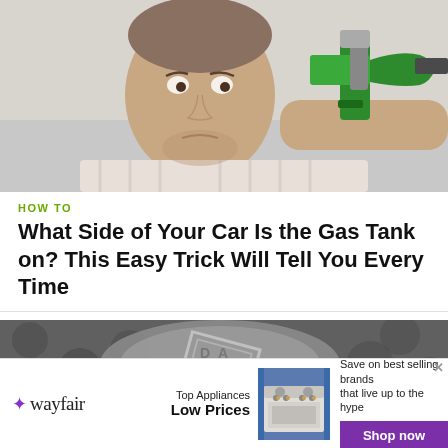[Figure (photo): Man holding a green gas pump nozzle to his head with a frustrated expression, wearing a light striped shirt, light background]
HOW TO
What Side of Your Car Is the Gas Tank on? This Easy Trick Will Tell You Every Time
[Figure (photo): Close-up of coins or metal texture, dark and light gray tones with circular patterns]
[Figure (other): Wayfair advertisement: Top Appliances Low Prices, image of a stove, Save on best selling brands that live up to the hype, Shop now button]